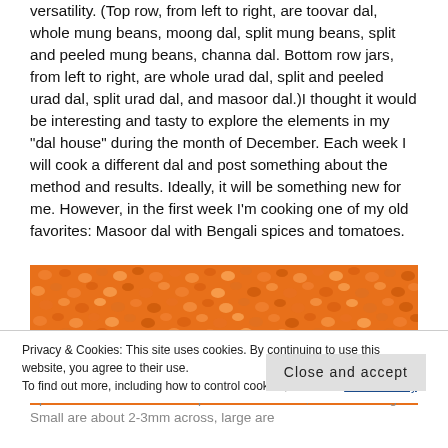versatility. (Top row, from left to right, are toovar dal, whole mung beans, moong dal, split mung beans, split and peeled mung beans, channa dal. Bottom row jars, from left to right, are whole urad dal, split and peeled urad dal, split urad dal, and masoor dal.)I thought it would be interesting and tasty to explore the elements in my “dal house” during the month of December. Each week I will cook a different dal and post something about the method and results. Ideally, it will be something new for me. However, in the first week I’m cooking one of my old favorites: Masoor dal with Bengali spices and tomatoes.
[Figure (photo): Close-up photograph of split masoor dal (red lentils), showing many small coral-orange colored lentil halves filling the entire frame.]
Privacy & Cookies: This site uses cookies. By continuing to use this website, you agree to their use.
To find out more, including how to control cookies, see here: Cookie Policy
Split masoor dal are a coral pink color ... sizes, small and large. Small are about 2-3mm across, large are